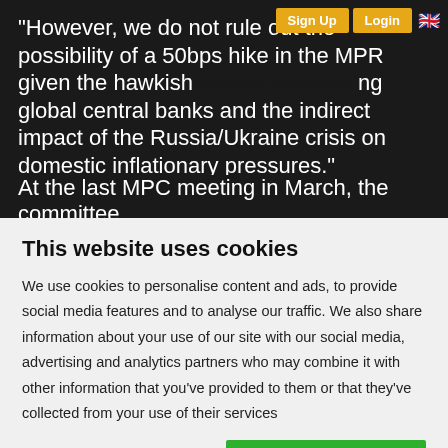“However, we do not rule out the possibility of a 50bps hike in the MPR given the hawkish [stance of] global central banks and the indirect impact of the Russia/Ukraine crisis on domestic inflationary pressures.”
At the last MPC meeting in March, the committee
This website uses cookies
We use cookies to personalise content and ads, to provide social media features and to analyse our traffic. We also share information about your use of our site with our social media, advertising and analytics partners who may combine it with other information that you've provided to them or that they've collected from your use of their services